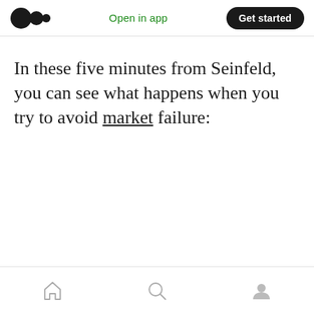Open in app | Get started
In these five minutes from Seinfeld, you can see what happens when you try to avoid market failure:
Home | Search | Profile